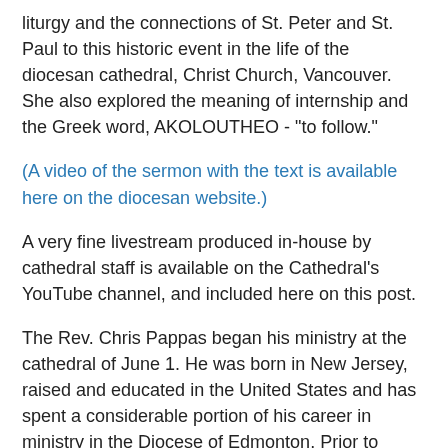liturgy and the connections of St. Peter and St. Paul to this historic event in the life of the diocesan cathedral, Christ Church, Vancouver. She also explored the meaning of internship and the Greek word, AKOLOUTHEO - "to follow."
(A video of the sermon with the text is available here on the diocesan website.)
A very fine livestream produced in-house by cathedral staff is available on the Cathedral's YouTube channel, and included here on this post.
The Rev. Chris Pappas began his ministry at the cathedral of June 1. He was born in New Jersey, raised and educated in the United States and has spent a considerable portion of his career in ministry in the Diocese of Edmonton. Prior to